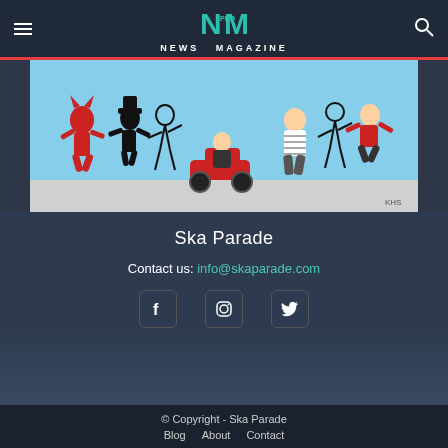NEWS MAGAZINE
[Figure (illustration): Black, white and red cartoon illustration of a lively ska parade scene with many dancing and playing characters, some on a scooter, crowd of stylized figures in energetic motion.]
Ska Parade
Contact us: info@skaparade.com
[Figure (infographic): Social media icons: Facebook (f), Instagram (camera), Twitter (bird)]
© Copyright - Ska Parade
Blog  About  Contact